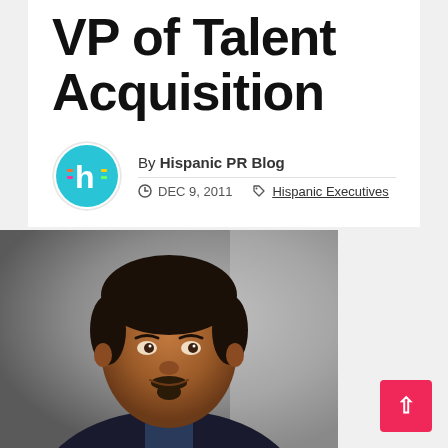VP of Talent Acquisition
By Hispanic PR Blog
DEC 9, 2011  Hispanic Executives
[Figure (photo): Professional headshot of a middle-aged Hispanic man in a dark suit, smiling, against a gray background]